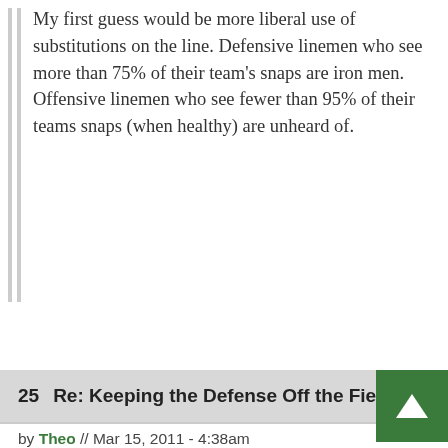My first guess would be more liberal use of substitutions on the line. Defensive linemen who see more than 75% of their team's snaps are iron men. Offensive linemen who see fewer than 95% of their teams snaps (when healthy) are unheard of.
25  Re: Keeping the Defense Off the Field
by Theo // Mar 15, 2011 - 4:38am
Next time the Tuskers play the Locomotives, and Tuskers run a sweep and the play has